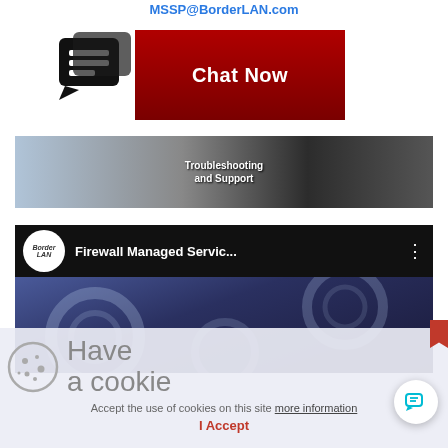MSSP@BorderLAN.com
[Figure (screenshot): Chat Now button with chat icon on left and red background button with white text 'Chat Now']
[Figure (screenshot): Support banner showing troubleshooting and support with person wearing headset and server hardware images]
[Figure (screenshot): YouTube-style video thumbnail for 'Firewall Managed Servic...' with BorderLAN logo and gear background]
[Figure (screenshot): Cookie consent overlay with cookie icon, 'Have a cookie' text, acceptance message with 'more information' link, and 'I Accept' button]